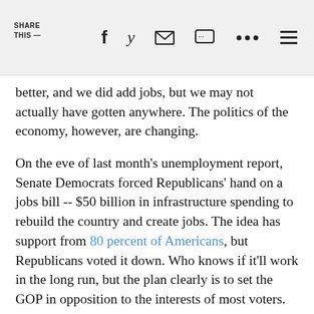SHARE THIS —
better, and we did add jobs, but we may not actually have gotten anywhere. The politics of the economy, however, are changing.
On the eve of last month's unemployment report, Senate Democrats forced Republicans' hand on a jobs bill -- $50 billion in infrastructure spending to rebuild the country and create jobs. The idea has support from 80 percent of Americans, but Republicans voted it down. Who knows if it'll work in the long run, but the plan clearly is to set the GOP in opposition to the interests of most voters.
Last night, again the eve of an unemployment report, Senate Democrats forced Republicans' hand again. This time Democrats got the GOP to vote against continuing